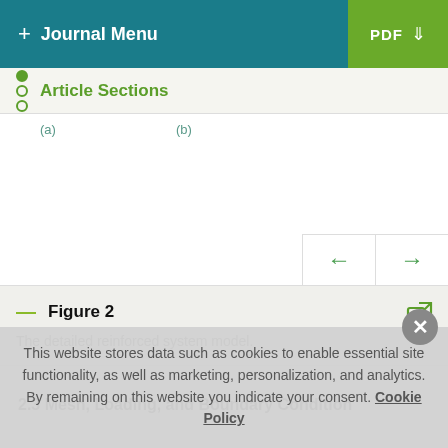+ Journal Menu | PDF ↓
Article Sections
[Figure (other): Figure 2 image panel with labels (a) and (b), navigation arrows (left and right)]
Figure 2
The detailed reinforced system model.
2.3 Mesh, Loading, and Boundary Condition
This website stores data such as cookies to enable essential site functionality, as well as marketing, personalization, and analytics. By remaining on this website you indicate your consent. Cookie Policy